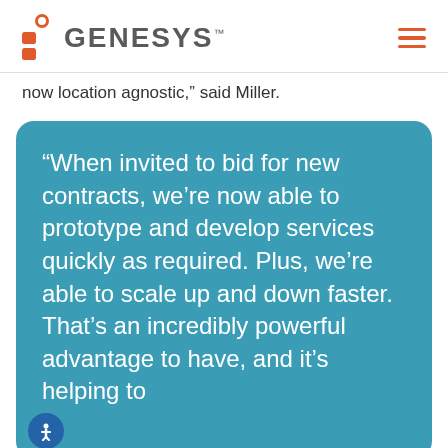GENESYS
now location agnostic,” said Miller.
“When invited to bid for new contracts, we’re now able to prototype and develop services quickly as required. Plus, we’re able to scale up and down faster. That’s an incredibly powerful advantage to have, and it’s helping to